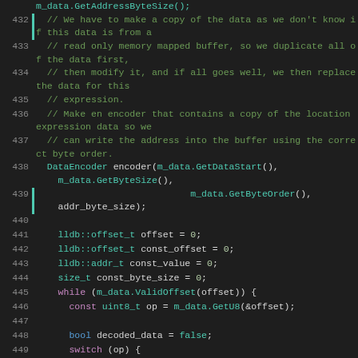[Figure (screenshot): Source code viewer showing C++ code lines 432-456, with syntax highlighting on a dark background. Comments in green, keywords in purple, type names and method calls in teal/cyan, boolean literals in green, line numbers in gray on the left with a teal vertical bar indicator.]